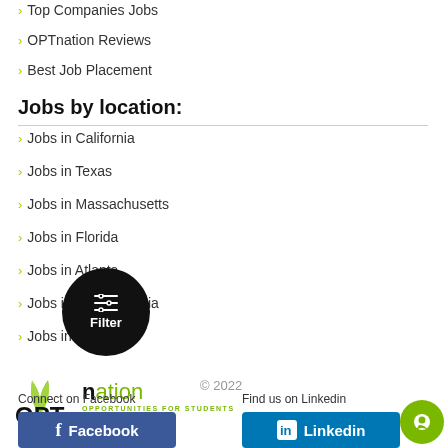Top Companies Jobs
OPTnation Reviews
Best Job Placement
Jobs by location:
Jobs in California
Jobs in Texas
Jobs in Massachusetts
Jobs in Florida
Jobs in Atlanta
Jobs in Pennsylvania
Jobs in New York
[Figure (logo): OPTnation logo with green leaf icon and tagline OPPORTUNITIES FOR STUDENTS]
© 2022
Connect on Facebook
Find us on Linkedin